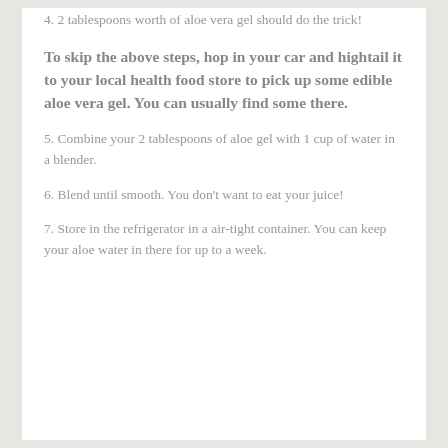4. 2 tablespoons worth of aloe vera gel should do the trick!
To skip the above steps, hop in your car and hightail it to your local health food store to pick up some edible aloe vera gel. You can usually find some there.
5. Combine your 2 tablespoons of aloe gel with 1 cup of water in a blender.
6. Blend until smooth. You don't want to eat your juice!
7. Store in the refrigerator in a air-tight container. You can keep your aloe water in there for up to a week.